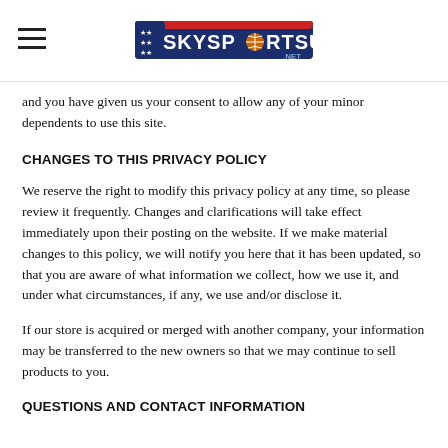SKYSPORTSUSA
and you have given us your consent to allow any of your minor dependents to use this site.
CHANGES TO THIS PRIVACY POLICY
We reserve the right to modify this privacy policy at any time, so please review it frequently. Changes and clarifications will take effect immediately upon their posting on the website. If we make material changes to this policy, we will notify you here that it has been updated, so that you are aware of what information we collect, how we use it, and under what circumstances, if any, we use and/or disclose it.
If our store is acquired or merged with another company, your information may be transferred to the new owners so that we may continue to sell products to you.
QUESTIONS AND CONTACT INFORMATION